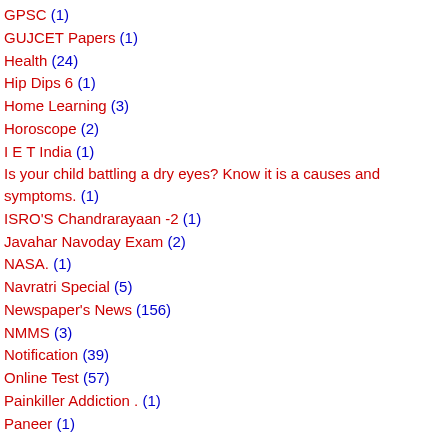GPSC (1)
GUJCET Papers (1)
Health (24)
Hip Dips 6 (1)
Home Learning (3)
Horoscope (2)
I E T India (1)
Is your child battling a dry eyes? Know it is a causes and symptoms. (1)
ISRO'S Chandrarayaan -2 (1)
Javahar Navoday Exam (2)
NASA. (1)
Navratri Special (5)
Newspaper's News (156)
NMMS (3)
Notification (39)
Online Test (57)
Painkiller Addiction . (1)
Paneer (1)